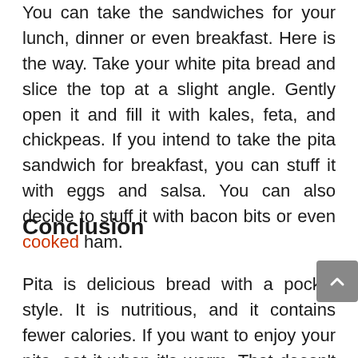You can take the sandwiches for your lunch, dinner or even breakfast. Here is the way. Take your white pita bread and slice the top at a slight angle. Gently open it and fill it with kales, feta, and chickpeas. If you intend to take the pita sandwich for breakfast, you can stuff it with eggs and salsa. You can also decide to stuff it with bacon bits or even cooked ham.
Conclusion
Pita is delicious bread with a pocket style. It is nutritious, and it contains fewer calories. If you want to enjoy your pita, eat it when it's warm. That doesn't mean that when you freeze the leftovers, you should throw them away. There are four main methods that you can use to warm